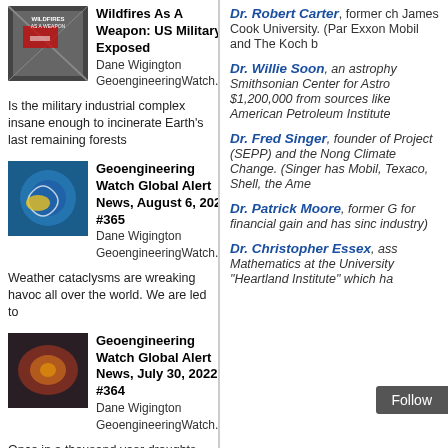[Figure (photo): Book cover for Wildfires As A Weapon: US Military Exposed]
Wildfires As A Weapon: US Military Exposed
Dane Wigington
GeoengineeringWatch.org
Is the military industrial complex insane enough to incinerate Earth's last remaining forests
[Figure (photo): Satellite image of storm/hurricane]
Geoengineering Watch Global Alert News, August 6, 2022, #365
Dane Wigington
GeoengineeringWatch.org
Weather cataclysms are wreaking havoc all over the world. We are led to
[Figure (photo): Heat/fire map image]
Geoengineering Watch Global Alert News, July 30, 2022, #364
Dane Wigington
GeoengineeringWatch.org
Once in a thousand year droughts and once in a thousand year floods
[Figure (photo): Weather map image]
Geoengineering Watch Global Alert News, July 23, 2022, #363
Dr. Robert Carter, former ch James Cook University. (Par Exxon Mobil and The Koch b
Dr. Willie Soon, an astrophy Smithsonian Center for Astro $1,200,000 from sources like American Petroleum Institute
Dr. Fred Singer, founder of Project (SEPP) and the Nong Climate Change. (Singer has Mobil, Texaco, Shell, the Ame
Dr. Patrick Moore, former G for financial gain and has sinc industry)
Dr. Christopher Essex, ass Mathematics at the University "Heartland Institute" which ha